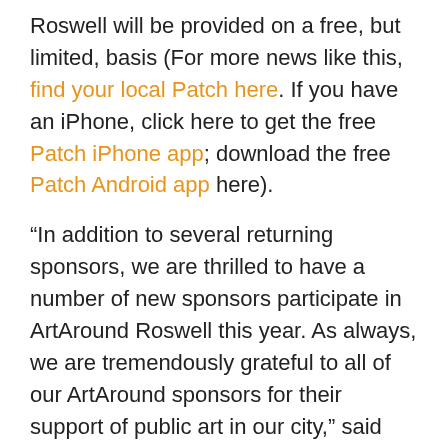Roswell will be provided on a free, but limited, basis (For more news like this, find your local Patch here. If you have an iPhone, click here to get the free Patch iPhone app; download the free Patch Android app here).
“In addition to several returning sponsors, we are thrilled to have a number of new sponsors participate in ArtAround Roswell this year. As always, we are tremendously grateful to all of our ArtAround sponsors for their support of public art in our city,” said Heidi Speckhart, Roswell Arts Fund development director. “We are looking forward to activating the tour through a series of events and activities and hope to make this year’s tour the best yet.”
Read More on Roswell Patch.com